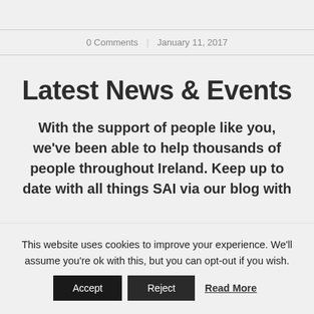0 Comments | January 11, 2017
Latest News & Events
With the support of people like you, we've been able to help thousands of people throughout Ireland. Keep up to date with all things SAI via our blog with
This website uses cookies to improve your experience. We'll assume you're ok with this, but you can opt-out if you wish. Accept Reject Read More